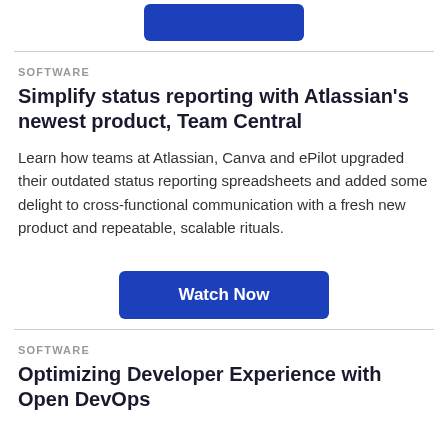[Figure (other): Blue button at the top (partially visible)]
SOFTWARE
Simplify status reporting with Atlassian's newest product, Team Central
Learn how teams at Atlassian, Canva and ePilot upgraded their outdated status reporting spreadsheets and added some delight to cross-functional communication with a fresh new product and repeatable, scalable rituals.
[Figure (other): Watch Now button]
SOFTWARE
Optimizing Developer Experience with Open DevOps